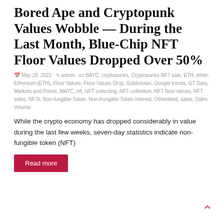Bored Ape and Cryptopunk Values Wobble — During the Last Month, Blue-Chip NFT Floor Values Dropped Over 50%
May 28, 2022  admin  BAYC, cryptopunks, Cryptopunks NFT sale, ETH, ether, Ethereum (ETH), Floor Values, Floor Values Drop, Goblintown, Google trends, GT Data, Markets and Prices, MAYC, nft, NFT collecting, NFT collection, NFT floor values, NFT sales, NFTs, Non-fungible Token, Non-Fungible Token Interest, Otherdeed, sales, Sales Volume
While the crypto economy has dropped considerably in value during the last few weeks, seven-day statistics indicate non-fungible token (NFT)
Read more